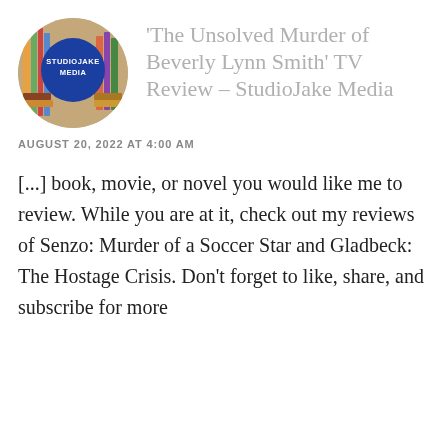[Figure (logo): Circular logo with bookshelf background and a blue circle in the center containing white text 'STUDIOJAKE MEDIA']
‘The Unsolved Murder of Beverly Lynn Smith’ TV Review – StudioJake Media
AUGUST 20, 2022 AT 4:00 AM
[...] book, movie, or novel you would like me to review. While you are at it, check out my reviews of Senzo: Murder of a Soccer Star and Gladbeck: The Hostage Crisis. Don’t forget to like, share, and subscribe for more